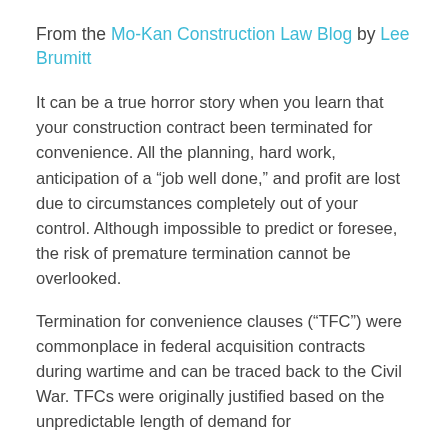From the Mo-Kan Construction Law Blog by Lee Brumitt
It can be a true horror story when you learn that your construction contract been terminated for convenience. All the planning, hard work, anticipation of a “job well done,” and profit are lost due to circumstances completely out of your control. Although impossible to predict or foresee, the risk of premature termination cannot be overlooked.
Termination for convenience clauses (“TFC”) were commonplace in federal acquisition contracts during wartime and can be traced back to the Civil War. TFCs were originally justified based on the unpredictable length of demand for supplies. TFCs were further incorporated with...